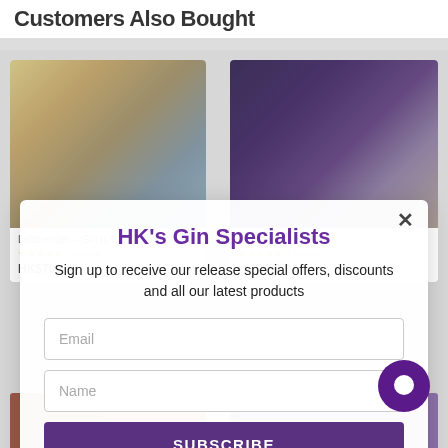Customers Also Bought
[Figure (photo): Product image: Gin glasses and bottles on a shelf - Loftbrenizer Gin Is Back Pack]
[Figure (photo): Product image: Champagne/gin bottle on purple background - Championz]
Loftbrenizer – Gin Is Back Pack
1 review
HK$700.00
Championz
1 review
HK$500.00
HK's Gin Specialists
Sign up to receive our release special offers, discounts and all our latest products
Email
Name
SUBSCRIBE